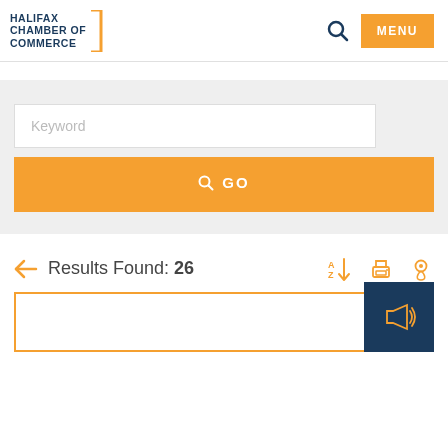[Figure (logo): Halifax Chamber of Commerce logo with orange bracket accent and navy blue text]
[Figure (screenshot): Website navigation header with search icon and orange MENU button]
[Figure (screenshot): Search bar section with Keyword input field and orange GO button on gray background]
Results Found: 26
[Figure (screenshot): Results toolbar with sort A-Z, print, and location pin icons]
[Figure (screenshot): Bottom card with orange border and dark blue megaphone/announcement icon overlay]